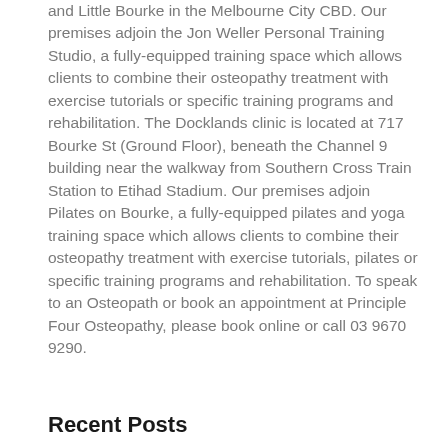and Little Bourke in the Melbourne City CBD. Our premises adjoin the Jon Weller Personal Training Studio, a fully-equipped training space which allows clients to combine their osteopathy treatment with exercise tutorials or specific training programs and rehabilitation. The Docklands clinic is located at 717 Bourke St (Ground Floor), beneath the Channel 9 building near the walkway from Southern Cross Train Station to Etihad Stadium. Our premises adjoin Pilates on Bourke, a fully-equipped pilates and yoga training space which allows clients to combine their osteopathy treatment with exercise tutorials, pilates or specific training programs and rehabilitation. To speak to an Osteopath or book an appointment at Principle Four Osteopathy, please book online or call 03 9670 9290.
Recent Posts